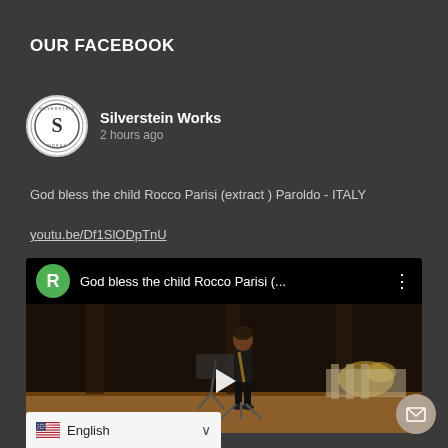OUR FACEBOOK
Silverstein Works
2 hours ago
God bless the child Rocco Parisi (extract ) Paroldo - ITALY
youtu.be/Df1SlODpTnU
[Figure (screenshot): YouTube video embed showing 'God bless the child Rocco Parisi (...' with a performer playing clarinet on stage, a play button overlay, and a green avatar icon with letter R in the top bar]
English
[Figure (other): Mail/envelope icon button in bottom right corner]